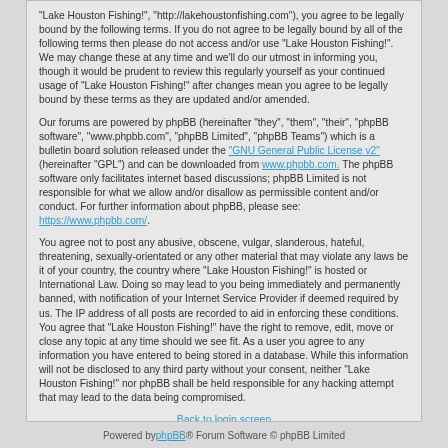"Lake Houston Fishing!", "http://lakehoustonfishing.com"), you agree to be legally bound by the following terms. If you do not agree to be legally bound by all of the following terms then please do not access and/or use "Lake Houston Fishing!". We may change these at any time and we'll do our utmost in informing you, though it would be prudent to review this regularly yourself as your continued usage of "Lake Houston Fishing!" after changes mean you agree to be legally bound by these terms as they are updated and/or amended.
Our forums are powered by phpBB (hereinafter "they", "them", "their", "phpBB software", "www.phpbb.com", "phpBB Limited", "phpBB Teams") which is a bulletin board solution released under the "GNU General Public License v2" (hereinafter "GPL") and can be downloaded from www.phpbb.com. The phpBB software only facilitates internet based discussions; phpBB Limited is not responsible for what we allow and/or disallow as permissible content and/or conduct. For further information about phpBB, please see: https://www.phpbb.com/.
You agree not to post any abusive, obscene, vulgar, slanderous, hateful, threatening, sexually-orientated or any other material that may violate any laws be it of your country, the country where "Lake Houston Fishing!" is hosted or International Law. Doing so may lead to you being immediately and permanently banned, with notification of your Internet Service Provider if deemed required by us. The IP address of all posts are recorded to aid in enforcing these conditions. You agree that "Lake Houston Fishing!" have the right to remove, edit, move or close any topic at any time should we see fit. As a user you agree to any information you have entered to being stored in a database. While this information will not be disclosed to any third party without your consent, neither "Lake Houston Fishing!" nor phpBB shall be held responsible for any hacking attempt that may lead to the data being compromised.
Back to login screen
Powered by phpBB® Forum Software © phpBB Limited